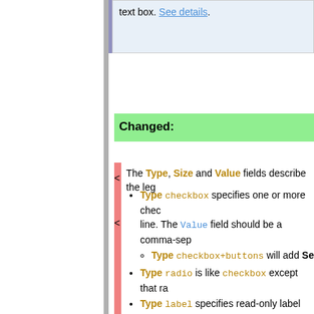text box. See details.
Changed:
The Type, Size and Value fields describe the leg...
Type checkbox specifies one or more checkboxes per line. The Value field should be a comma-sep...
Type checkbox+buttons will add Se...
Type radio is like checkbox except that ra...
Type label specifies read-only label text. T...
Type select specifies a select box. The Va... field can specify a fixed size for the box (e.g. ... than 3 items, never larger than 10, and will b...
There are two modifiers that can be app...
select+multi turns multiselect... items.
select+values allows the defin...